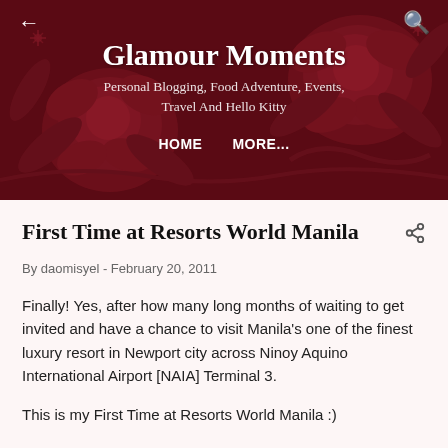Glamour Moments
Personal Blogging, Food Adventure, Events, Travel And Hello Kitty
HOME   MORE...
First Time at Resorts World Manila
By daomisyel - February 20, 2011
Finally! Yes, after how many long months of waiting to get invited and have a chance to visit Manila's one of the finest luxury resort in Newport city across Ninoy Aquino International Airport [NAIA] Terminal 3.
This is my First Time at Resorts World Manila :)